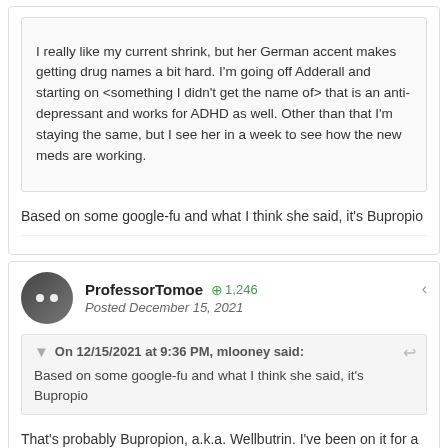I really like my current shrink, but her German accent makes getting drug names a bit hard. I'm going off Adderall and starting on <something I didn't get the name of> that is an anti-depressant and works for ADHD as well. Other than that I'm staying the same, but I see her in a week to see how the new meds are working.
Based on some google-fu and what I think she said, it's Bupropio
ProfessorTomoe
1,246
Posted December 15, 2021
On 12/15/2021 at 9:36 PM, mlooney said:
Based on some google-fu and what I think she said, it's Bupropio
That's probably Bupropion, a.k.a. Wellbutrin. I've been on it for a good 20-25 years. It helps, but I have to take other stuff.